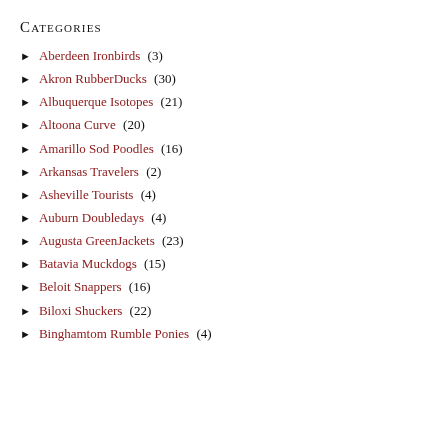Categories
Aberdeen Ironbirds (3)
Akron RubberDucks (30)
Albuquerque Isotopes (21)
Altoona Curve (20)
Amarillo Sod Poodles (16)
Arkansas Travelers (2)
Asheville Tourists (4)
Auburn Doubledays (4)
Augusta GreenJackets (23)
Batavia Muckdogs (15)
Beloit Snappers (16)
Biloxi Shuckers (22)
Binghamtom Rumble Ponies (4)